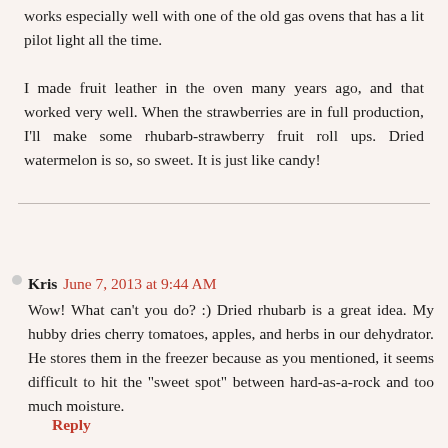works especially well with one of the old gas ovens that has a lit pilot light all the time.

I made fruit leather in the oven many years ago, and that worked very well. When the strawberries are in full production, I'll make some rhubarb-strawberry fruit roll ups. Dried watermelon is so, so sweet. It is just like candy!
Reply
Kris  June 7, 2013 at 9:44 AM
Wow! What can't you do? :) Dried rhubarb is a great idea. My hubby dries cherry tomatoes, apples, and herbs in our dehydrator. He stores them in the freezer because as you mentioned, it seems difficult to hit the "sweet spot" between hard-as-a-rock and too much moisture.
Reply